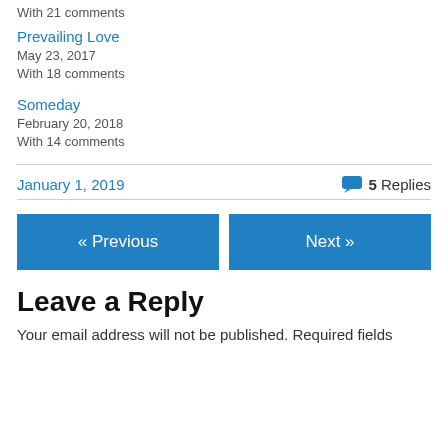With 21 comments
Prevailing Love
May 23, 2017
With 18 comments
Someday
February 20, 2018
With 14 comments
January 1, 2019   5 Replies
« Previous
Next »
Leave a Reply
Your email address will not be published. Required fields